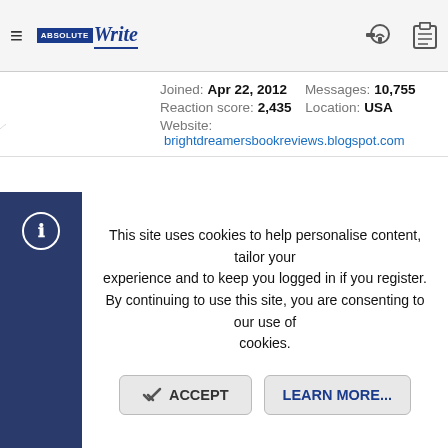AbsoluteWrite (navigation bar with logo, key icon, clipboard icon)
Joined: Apr 22, 2012  Messages: 10,755  Reaction score: 2,435  Location: USA  Website: brightdreamersbookreviews.blogspot.com
Sep 25, 2019  #894
Sue77 - Good to know you're on the mend!

Mine's been guessed. Looks like only a handful of unguessed left standing at this point. (I totally suck at guessing...)
Norman Mjadwesch
vacuous eyes, will bark at shadows  Super Member  Registered
This site uses cookies to help personalise content, tailor your experience and to keep you logged in if you register.
By continuing to use this site, you are consenting to our use of cookies.
ACCEPT  LEARN MORE...